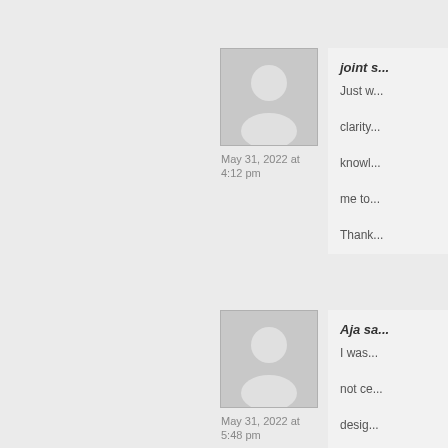[Figure (illustration): Gray placeholder avatar icon (person silhouette) for first commenter]
May 31, 2022 at 4:12 pm
joint ... Just w... clarity... knowl... me to... Thank...
[Figure (illustration): Gray placeholder avatar icon (person silhouette) for second commenter]
May 31, 2022 at 5:48 pm
Aja sa... I was... not ce... desig... appro... Thank...